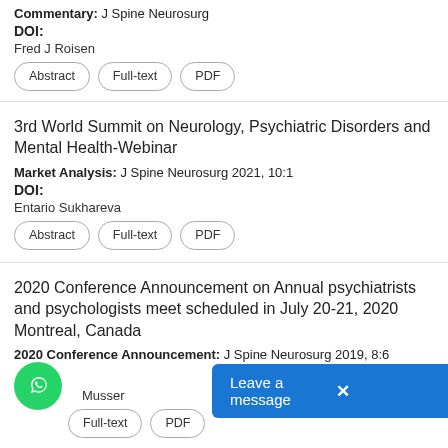Commentary: J Spine Neurosurg
DOI:
Fred J Roisen
Abstract | Full-text | PDF
3rd World Summit on Neurology, Psychiatric Disorders and Mental Health-Webinar
Market Analysis: J Spine Neurosurg 2021, 10:1
DOI:
Entario Sukhareva
Abstract | Full-text | PDF
2020 Conference Announcement on Annual psychiatrists and psychologists meet scheduled in July 20-21, 2020 Montreal, Canada
2020 Conference Announcement: J Spine Neurosurg 2019, 8:6
Musser
Full-text | PDF